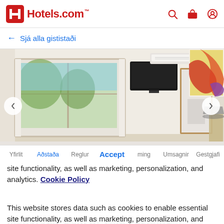[Figure (logo): Hotels.com logo with red H icon and red text]
← Sjá alla gististaði
[Figure (photo): Hotel room interior with white walls, window with view of trees, wall-mounted TV, open door to bathroom, two colorful paintings, air conditioning unit, lamp, and white bed]
This website stores data such as cookies to enable essential site functionality, as well as marketing, personalization, and analytics. Cookie Policy
Accept
Deny
Yfirlit  Aðstaða  Reglur  Accept  ming  Umsagnir  Gestgjafi
Heilt heimili
Menorcan Gema in Villa Jasmine